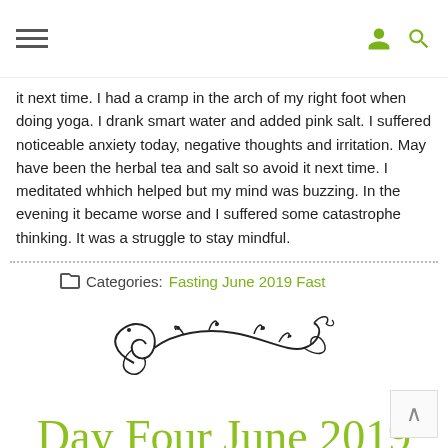Navigation hamburger menu, user icon, search icon
it next time. I had a cramp in the arch of my right foot when doing yoga. I drank smart water and added pink salt. I suffered noticeable anxiety today, negative thoughts and irritation. May have been the herbal tea and salt so avoid it next time. I meditated whhich helped but my mind was buzzing. In the evening it became worse and I suffered some catastrophe thinking. It was a struggle to stay mindful.
Categories: Fasting June 2019 Fast
[Figure (illustration): Decorative floral/swirl ornament divider in black]
Day Four June 2019
admin   June 16, 2019   No Comments
Tiredness beginning to set in now. I completed Ashtanga Yoga, Tai Chi, Shaolin Ab